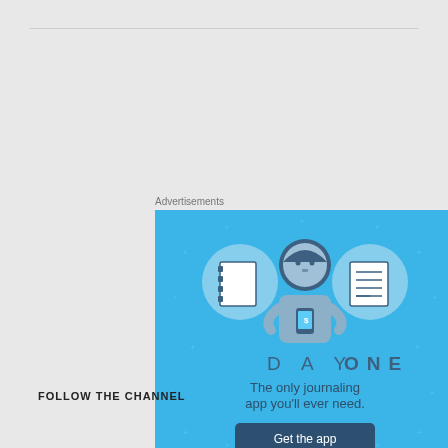Advertisements
[Figure (illustration): Day One journaling app advertisement on a blue background, featuring a cartoon person holding a phone with notebook icons on either side, the text 'DAY ONE', 'The only journaling app you’ll ever need.', and a dark button labeled 'Get the app'.]
REPORT THIS AD
FOLLOW THE CHANNEL